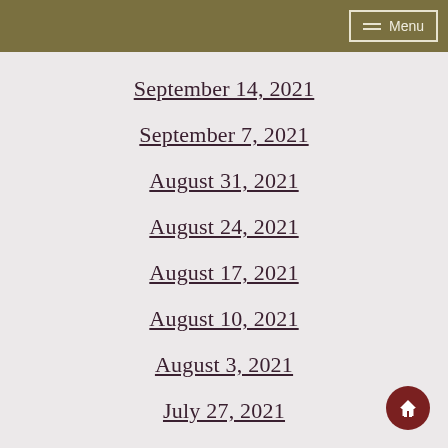Menu
September 14, 2021
September 7, 2021
August 31, 2021
August 24, 2021
August 17, 2021
August 10, 2021
August 3, 2021
July 27, 2021